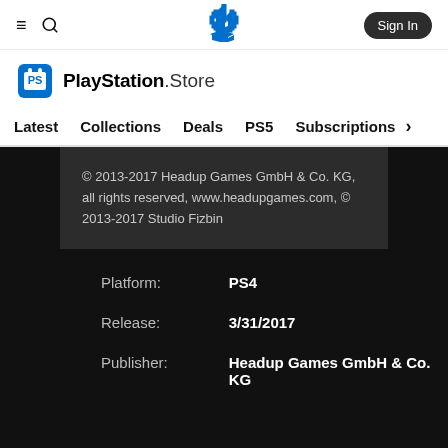≡  🔍  [PlayStation logo]  Sign In
[Figure (logo): PlayStation Store logo with shopping bag icon and text 'PlayStation.Store']
Latest  Collections  Deals  PS5  Subscriptions  >
© 2013-2017 Headup Games GmbH & Co. KG, all rights reserved, www.headupgames.com, © 2013-2017 Studio Fizbin
| Platform: | PS4 |
| Release: | 3/31/2017 |
| Publisher: | Headup Games GmbH & Co. KG |